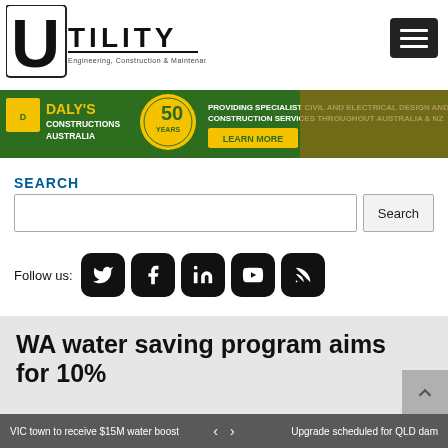[Figure (logo): Utility Magazine logo — large U shape with 'TILITY' text and subtitle 'Engineering, Construction & Maintenance']
[Figure (illustration): Hamburger menu button (three white lines on black rounded rectangle)]
[Figure (photo): Daly's Constructions Australia 50 Years advertisement banner — green background with yellow logo, text: PROVIDING SPECIALIST CIVIL AND ELECTRICAL DESIGN AND CONSTRUCTION SERVICES THROUGHOUT AUSTRALIA & NZ, LEARN MORE button]
SEARCH
[Figure (screenshot): Search input box with Search button]
Follow us:
[Figure (infographic): Social media icons: Twitter, Facebook, LinkedIn, YouTube, RSS — black rounded square buttons]
WA water saving program aims for 10%
VIC town to receive $15M water boost
Upgrade scheduled for QLD dam